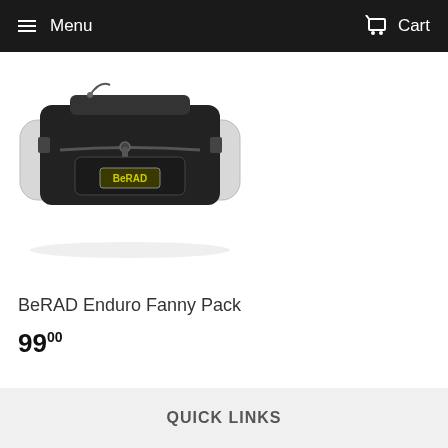Menu   Cart
[Figure (photo): BeRAD Enduro Fanny Pack product photo — black fanny pack with yellow logo patch, white side panels, worn at waist level]
BeRAD Enduro Fanny Pack
99.00
QUICK LINKS